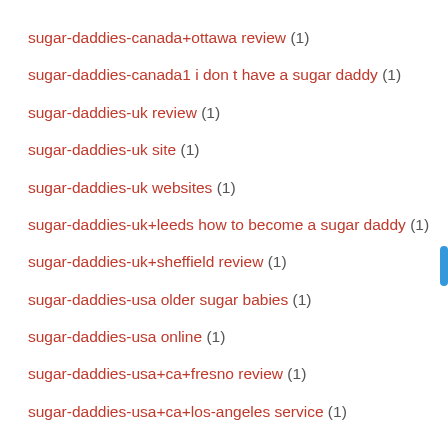sugar-daddies-canada+ottawa review (1)
sugar-daddies-canada1 i don t have a sugar daddy (1)
sugar-daddies-uk review (1)
sugar-daddies-uk site (1)
sugar-daddies-uk websites (1)
sugar-daddies-uk+leeds how to become a sugar daddy (1)
sugar-daddies-uk+sheffield review (1)
sugar-daddies-usa older sugar babies (1)
sugar-daddies-usa online (1)
sugar-daddies-usa+ca+fresno review (1)
sugar-daddies-usa+ca+los-angeles service (1)